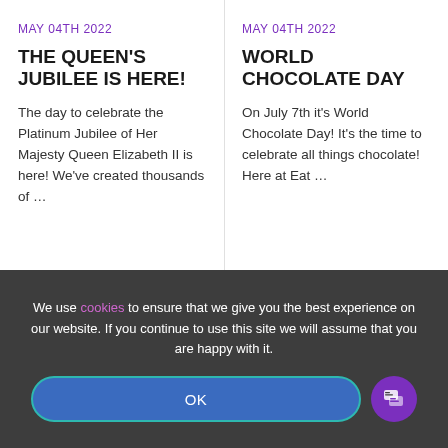MAY 04TH 2022
THE QUEEN'S JUBILEE IS HERE!
The day to celebrate the Platinum Jubilee of Her Majesty Queen Elizabeth II is here! We've created thousands of …
MAY 04TH 2022
WORLD CHOCOLATE DAY
On July 7th it's World Chocolate Day! It's the time to celebrate all things chocolate! Here at Eat …
We use cookies to ensure that we give you the best experience on our website. If you continue to use this site we will assume that you are happy with it.
OK